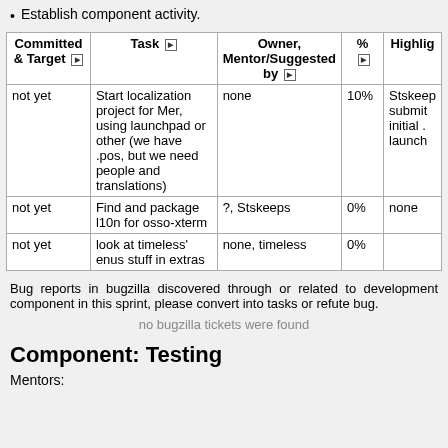Establish component activity.
| Committed & Target | Task | Owner, Mentor/Suggested by | % | Highlights |
| --- | --- | --- | --- | --- |
| not yet | Start localization project for Mer, using launchpad or other (we have .pos, but we need people and translations) | none | 10% | Stskeeps submitted initial .launch |
| not yet | Find and package l10n for osso-xterm | ?, Stskeeps | 0% | none |
| not yet | look at timeless' enus stuff in extras | none, timeless | 0% |  |
Bug reports in bugzilla discovered through or related to development component in this sprint, please convert into tasks or refute bug.
no bugzilla tickets were found
Component: Testing
Mentors: